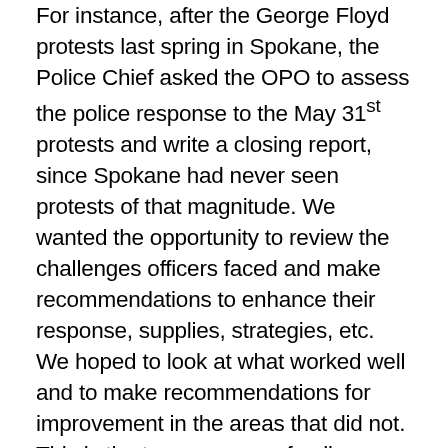For instance, after the George Floyd protests last spring in Spokane, the Police Chief asked the OPO to assess the police response to the May 31st protests and write a closing report, since Spokane had never seen protests of that magnitude. We wanted the opportunity to review the challenges officers faced and make recommendations to enhance their response, supplies, strategies, etc. We hoped to look at what worked well and to make recommendations for improvement in the areas that did not. This is the true essence of police oversight. Almost a year later, SPD still has not provided the OPO with any of the records from the incident. The Union filed a grievance claiming the report could be a potential violation, which effectively stalled any effort to review and report on the